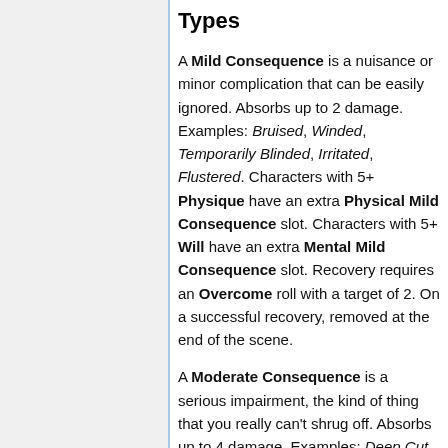Types
A Mild Consequence is a nuisance or minor complication that can be easily ignored. Absorbs up to 2 damage. Examples: Bruised, Winded, Temporarily Blinded, Irritated, Flustered. Characters with 5+ Physique have an extra Physical Mild Consequence slot. Characters with 5+ Will have an extra Mental Mild Consequence slot. Recovery requires an Overcome roll with a target of 2. On a successful recovery, removed at the end of the scene.
A Moderate Consequence is a serious impairment, the kind of thing that you really can't shrug off. Absorbs up to 4 damage. Examples: Deep Cut, Exhausted, Drunk, Terrified. Recovery